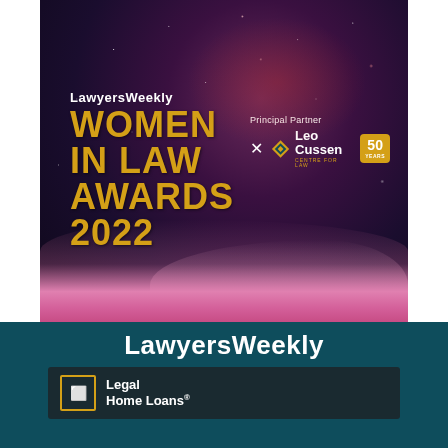[Figure (photo): Lawyers Weekly Women in Law Awards 2022 promotional poster with dark purple/space background with stars and pink/magenta smoke at bottom. Shows event title in gold text, with Leo Cussen Centre for Law as Principal Partner logo and 50 years badge.]
[Figure (logo): Lawyers Weekly banner in white text on dark teal background, with Legal Home Loans sponsor logo box below it.]